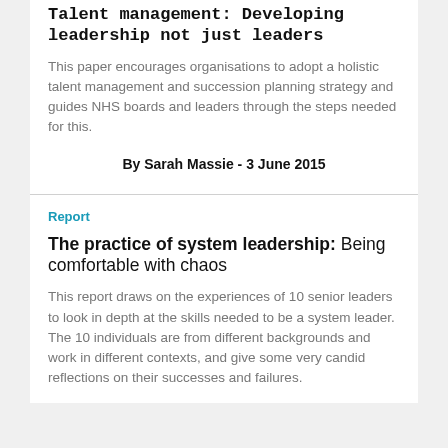Talent management: Developing leadership not just leaders
This paper encourages organisations to adopt a holistic talent management and succession planning strategy and guides NHS boards and leaders through the steps needed for this.
By Sarah Massie - 3 June 2015
Report
The practice of system leadership: Being comfortable with chaos
This report draws on the experiences of 10 senior leaders to look in depth at the skills needed to be a system leader. The 10 individuals are from different backgrounds and work in different contexts, and give some very candid reflections on their successes and failures.